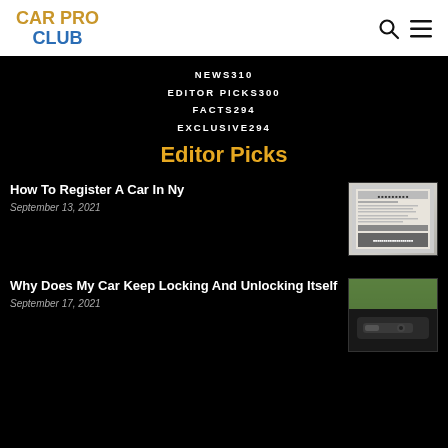CAR PRO CLUB
NEWS310
EDITOR PICKS300
FACTS294
EXCLUSIVE294
Editor Picks
How To Register A Car In Ny
September 13, 2021
[Figure (photo): Document image showing a car registration form]
Why Does My Car Keep Locking And Unlocking Itself
September 17, 2021
[Figure (photo): Photo of a car door handle/lock mechanism with green foliage in background]